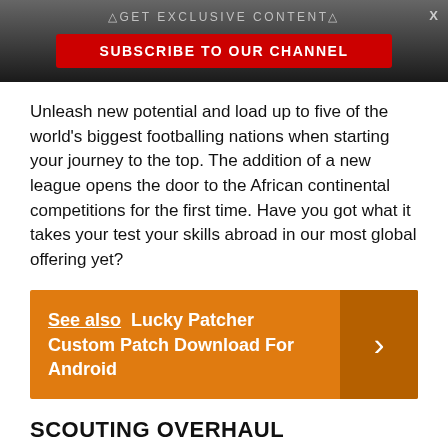△GET EXCLUSIVE CONTENT△
SUBSCRIBE TO OUR CHANNEL
Unleash new potential and load up to five of the world's biggest footballing nations when starting your journey to the top. The addition of a new league opens the door to the African continental competitions for the first time. Have you got what it takes your test your skills abroad in our most global offering yet?
See also  Lucky Patcher Custom Patch Download For Android
SCOUTING OVERHAUL
Power your recruitment with the overhauled scouting featuring the opportunity to create